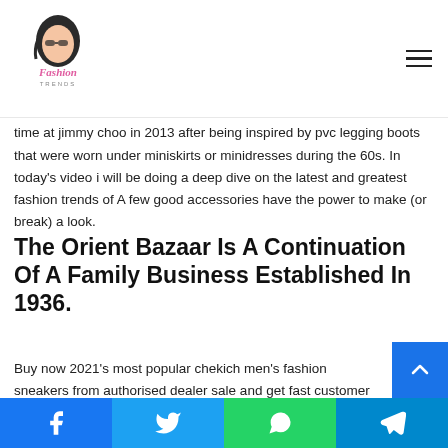Fashion Trends (logo)
Ankle Boot.
Footwear designer tamara mellon was the first to revive it during her time at jimmy choo in 2013 after being inspired by pvc legging boots that were worn under miniskirts or minidresses during the 60s. In today's video i will be doing a deep dive on the latest and greatest fashion trends of A few good accessories have the power to make (or break) a look.
The Orient Bazaar Is A Continuation Of A Family Business Established In 1936.
Buy now 2021's most popular chekich men's fashion sneakers from authorised dealer sale and get fast customer support,
Facebook | Twitter | WhatsApp | Telegram